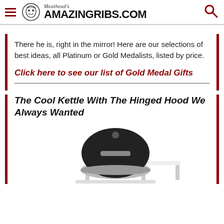Meathead's AmazingRibs.com
There he is, right in the mirror! Here are our selections of best ideas, all Platinum or Gold Medalists, listed by price.
Click here to see our list of Gold Medal Gifts
The Cool Kettle With The Hinged Hood We Always Wanted
[Figure (photo): Photo of a black kettle grill with hinged hood, shown in black and white]